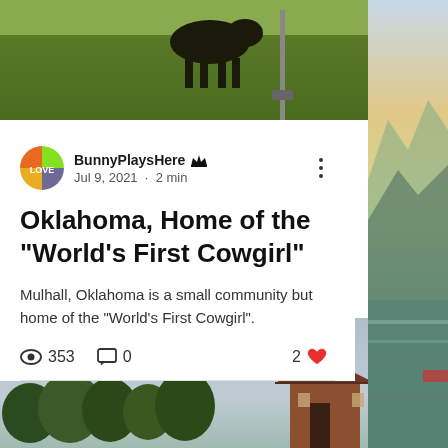[Figure (photo): Top photo showing grass field with dark animal/horse silhouette and metal pole]
[Figure (photo): Right sidebar showing scenic mountain lake with warm sunset tones]
BunnyPlaysHere 👑 Admin
Jul 9, 2021 · 2 min
Oklahoma, Home of the "World's First Cowgirl"
Mulhall, Oklahoma is a small community but home of the "World's First Cowgirl".
353  0  2 ♥
[Figure (photo): Bottom photo showing overcast sky with trees and traditional building/structure silhouette]